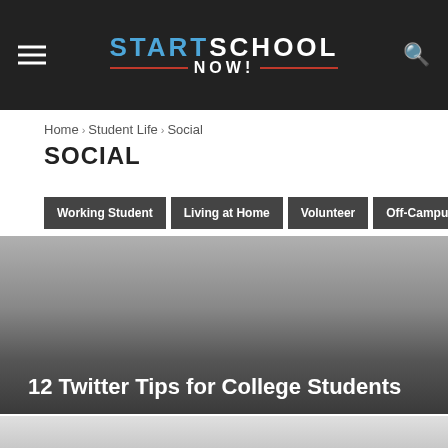START SCHOOL NOW!
Home › Student Life › Social
SOCIAL
Working Student
Living at Home
Volunteer
Off-Campus
[Figure (photo): Dark gradient card image with overlay title '12 Twitter Tips for College Students']
[Figure (photo): Second card image, light gray gradient, partial view at bottom of page]